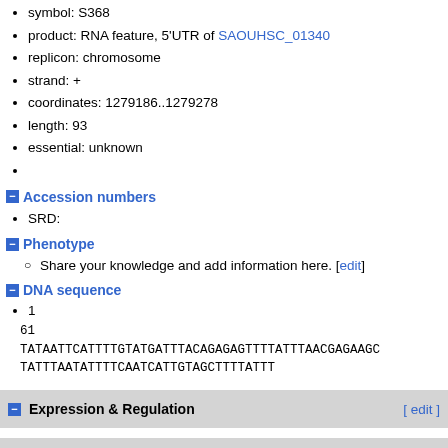symbol: S368
product: RNA feature, 5'UTR of SAOUHSC_01340
replicon: chromosome
strand: +
coordinates: 1279186..1279278
length: 93
essential: unknown
Accession numbers
SRD:
Phenotype
Share your knowledge and add information here. [edit]
DNA sequence
1
61
TATAATTCATTTTGTATGATTTACAGAGAGTTTATTTAACGAGAAGC
TATTTAATATTTTCAATCATTGTAGCTTTATTT
60
93
Expression & Regulation